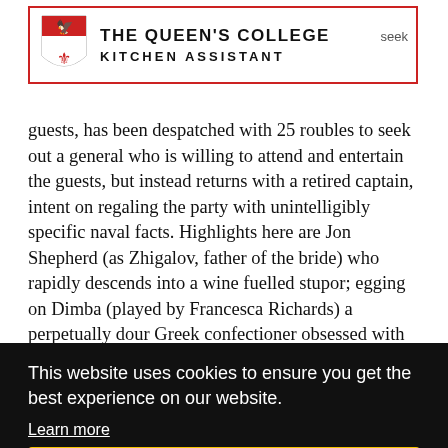[Figure (other): The Queen's College advertisement banner with red border, college shield logo on left, college name and 'KITCHEN ASSISTANT' text, and 'seek' label top right]
guests, has been despatched with 25 roubles to seek out a general who is willing to attend and entertain the guests, but instead returns with a retired captain, intent on regaling the party with unintelligibly specific naval facts. Highlights here are Jon Shepherd (as Zhigalov, father of the bride) who rapidly descends into a wine fuelled stupor; egging on Dimba (played by Francesca Richards) a perpetually dour Greek confectioner obsessed with her homeland. Nastasya (the mother of the bride) comes across as a tirably commanding and dressed in the hands of Rhona Mackenzie, contrasting with Zhelyunkina, P... while the captain M... deftly re... charmingly eccentric and yet simultaneously marvellously maddening.
This website uses cookies to ensure you get the best experience on our website.
Learn more
Got it!
Epoxia, a young widow who is determined to mourn her lost love until the day she herself dies (while dressed in almost